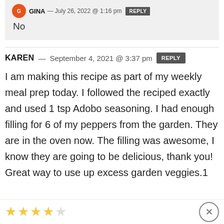No
KAREN — September 4, 2021 @ 3:37 pm
I am making this recipe as part of my weekly meal prep today. I followed the reciped exactly and used 1 tsp Adobo seasoning. I had enough filling for 6 of my peppers from the garden. They are in the oven now. The filling was awesome, I know they are going to be delicious, thank you! Great way to use up excess garden veggies.1